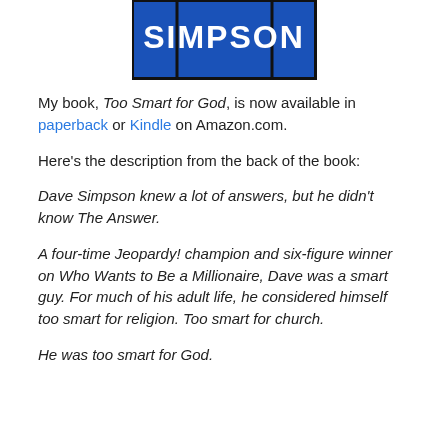[Figure (photo): Partial book cover image showing 'SIMPSON' text on a blue Jeopardy-style game board background]
My book, Too Smart for God, is now available in paperback or Kindle on Amazon.com.
Here's the description from the back of the book:
Dave Simpson knew a lot of answers, but he didn't know The Answer.
A four-time Jeopardy! champion and six-figure winner on Who Wants to Be a Millionaire, Dave was a smart guy. For much of his adult life, he considered himself too smart for religion. Too smart for church.
He was too smart for God.